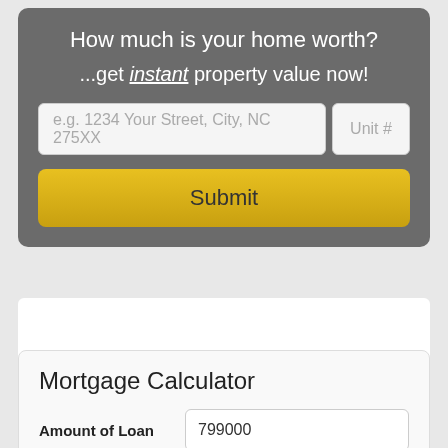How much is your home worth?
...get instant property value now!
[Figure (screenshot): Address input field with placeholder text 'e.g. 1234 Your Street, City, NC 275XX' and a 'Unit #' field beside it]
[Figure (screenshot): Yellow Submit button]
Mortgage Calculator
Amount of Loan: 799000